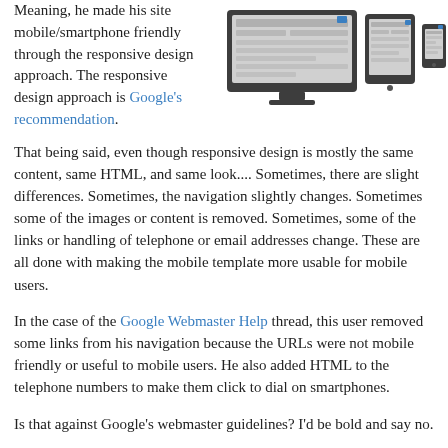Meaning, he made his site mobile/smartphone friendly through the responsive design approach. The responsive design approach is Google's recommendation.
[Figure (illustration): Illustration of responsive web design devices: a desktop monitor, a tablet, and a smartphone displaying website layouts]
That being said, even though responsive design is mostly the same content, same HTML, and same look.... Sometimes, there are slight differences. Sometimes, the navigation slightly changes. Sometimes some of the images or content is removed. Sometimes, some of the links or handling of telephone or email addresses change. These are all done with making the mobile template more usable for mobile users.
In the case of the Google Webmaster Help thread, this user removed some links from his navigation because the URLs were not mobile friendly or useful to mobile users. He also added HTML to the telephone numbers to make them click to dial on smartphones.
Is that against Google's webmaster guidelines? I'd be bold and say no.